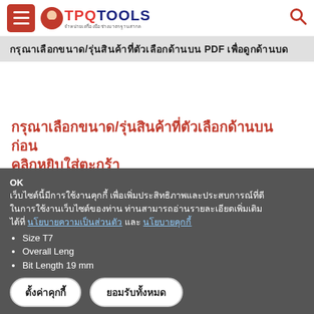TPQTOOLS
กรุณาเลือกขนาด/รุ่นสินค้าที่ตัวเลือกด้านบน PDF เพื่อดูกด้าน
กรุณาเลือกขนาด/รุ่นสินค้าที่ตัวเลือกด้านบน ก่อนคลิกหยิบใส่ตะกร้า
ORDER CODE : KEN-582-4685K
Size T6
Overall Length 37 mm
เว็บไซต์นี้มีการใช้งานคุกกี้ เพื่อเพิ่มประสิทธิภาพและประสบการณ์ที่ดีในการใช้งานเว็บไซต์ของท่าน ท่านสามารถอ่านรายละเอียดเพิ่มเติมได้ที่ นโยบายความเป็นส่วนตัว และ นโยบายคุกกี้
Size T7
Overall Length
Bit Length 19 mm